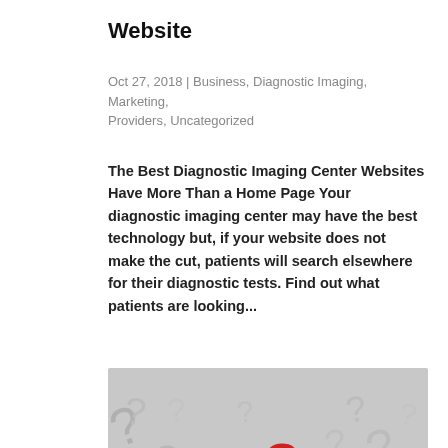Website
Oct 27, 2018 | Business, Diagnostic Imaging, Marketing, Providers, Uncategorized
The Best Diagnostic Imaging Center Websites Have More Than a Home Page Your diagnostic imaging center may have the best technology but, if your website does not make the cut, patients will search elsewhere for their diagnostic tests. Find out what patients are looking...
[Figure (photo): A pile of silver/grey 3D question mark symbols with one red question mark standing out prominently in the center foreground]